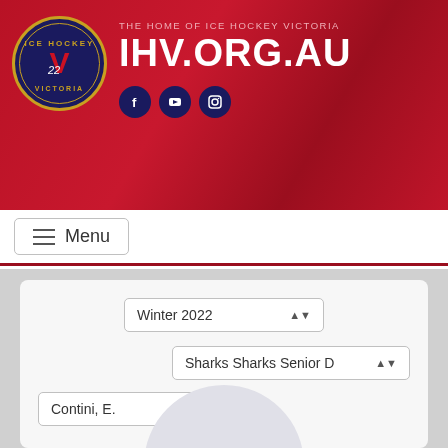THE HOME OF ICE HOCKEY VICTORIA IHV.ORG.AU
Menu
Winter 2022
Sharks Sharks Senior D
Contini, E.
[Figure (illustration): Avatar placeholder circle with initials EC]